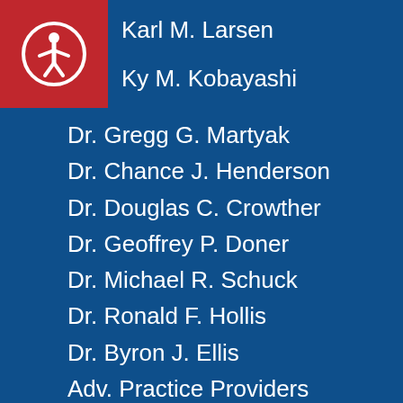[Figure (logo): Red square with white accessibility icon (person in circle)]
Karl M. Larsen
Ky M. Kobayashi
Dr. Gregg G. Martyak
Dr. Chance J. Henderson
Dr. Douglas C. Crowther
Dr. Geoffrey P. Doner
Dr. Michael R. Schuck
Dr. Ronald F. Hollis
Dr. Byron J. Ellis
Adv. Practice Providers
Physical Therapists
Occupational Therapists
Athletic Trainers
Sports Performance